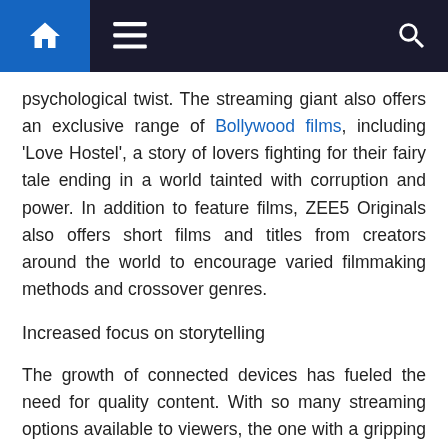Navigation bar with home, menu, and search icons
psychological twist. The streaming giant also offers an exclusive range of Bollywood films, including 'Love Hostel', a story of lovers fighting for their fairy tale ending in a world tainted with corruption and power. In addition to feature films, ZEE5 Originals also offers short films and titles from creators around the world to encourage varied filmmaking methods and crossover genres.
Increased focus on storytelling
The growth of connected devices has fueled the need for quality content. With so many streaming options available to viewers, the one with a gripping plot and an appealing mix of entertainment elements will win. Although Bollywood has a treasure trove of stories from various genres, there is always a demand for more exploration. To bridge this gap, ZEE5 has achieved significant scale and size through volume, and